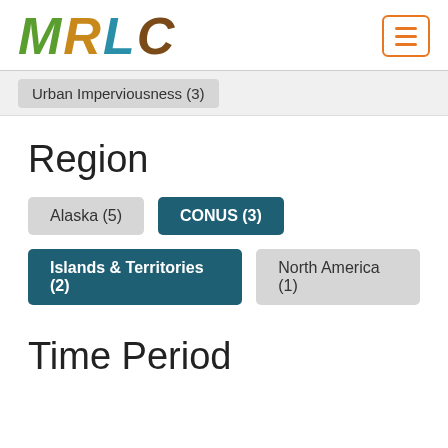MRLC
Urban Imperviousness (3)
Region
Alaska (5)
CONUS (3)
Islands & Territories (2)
North America (1)
Time Period